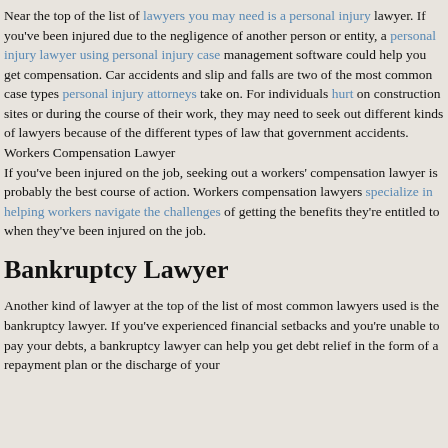Near the top of the list of lawyers you may need is a personal injury lawyer. If you've been injured due to the negligence of another person or entity, a personal injury lawyer using personal injury case management software could help you get compensation. Car accidents and slip and falls are two of the most common case types personal injury attorneys take on. For individuals hurt on construction sites or during the course of their work, they may need to seek out different kinds of lawyers because of the different types of law that government accidents.
Workers Compensation Lawyer
If you've been injured on the job, seeking out a workers' compensation lawyer is probably the best course of action. Workers compensation lawyers specialize in helping workers navigate the challenges of getting the benefits they're entitled to when they've been injured on the job.
Bankruptcy Lawyer
Another kind of lawyer at the top of the list of most common lawyers used is the bankruptcy lawyer. If you've experienced financial setbacks and you're unable to pay your debts, a bankruptcy lawyer can help you get debt relief in the form of a repayment plan or the discharge of your